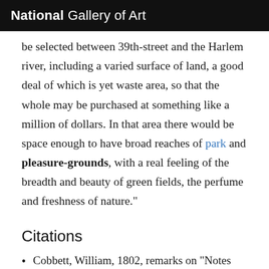National Gallery of Art
be selected between 39th-street and the Harlem river, including a varied surface of land, a good deal of which is yet waste area, so that the whole may be purchased at something like a million of dollars. In that area there would be space enough to have broad reaches of park and pleasure-grounds, with a real feeling of the breadth and beauty of green fields, the perfume and freshness of nature."
Citations
Cobbett, William, 1802, remarks on "Notes Adapting the Rules of the Treatise to the Climates and Seasons of the United States of